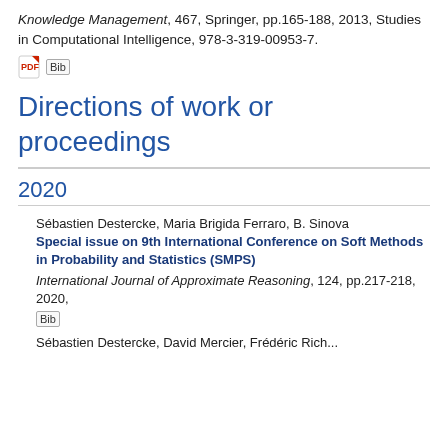Knowledge Management, 467, Springer, pp.165-188, 2013, Studies in Computational Intelligence, 978-3-319-00953-7.
[Figure (other): PDF icon and BibTeX icon links]
Directions of work or proceedings
2020
Sébastien Destercke, Maria Brigida Ferraro, B. Sinova
Special issue on 9th International Conference on Soft Methods in Probability and Statistics (SMPS)
International Journal of Approximate Reasoning, 124, pp.217-218, 2020,
[Figure (other): BibTeX icon link]
Sébastien Destercke, David Mercier, Frédéric Pich...